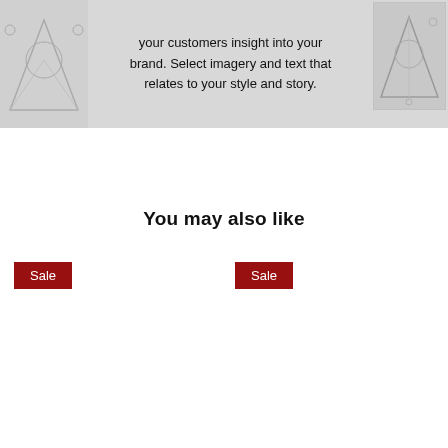[Figure (illustration): Gray background banner section with placeholder sketch illustrations on left and right sides, and centered text describing brand imagery]
your customers insight into your brand. Select imagery and text that relates to your style and story.
You may also like
Sale
Sale